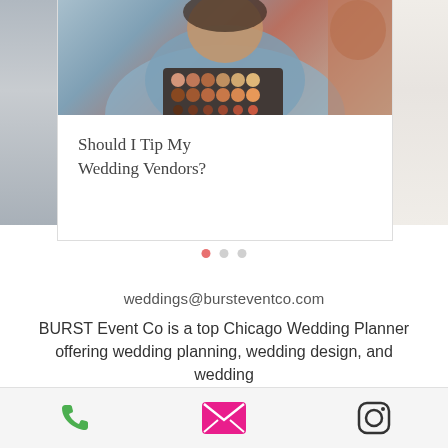[Figure (photo): Carousel card showing a person in a light blue satin shirt holding a makeup eyeshadow palette, with partial images of other photos on left and right sides]
Should I Tip My Wedding Vendors?
weddings@bursteventco.com
BURST Event Co is a top Chicago Wedding Planner offering wedding planning, wedding design, and wedding